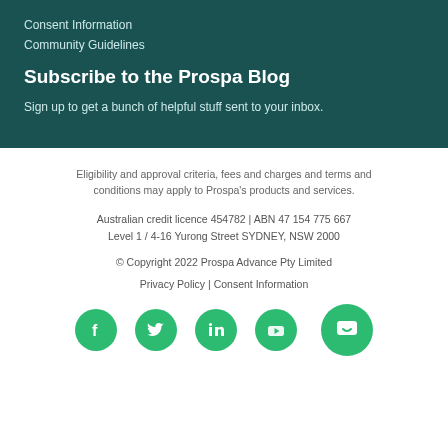Consent Information
Community Guidelines
Subscribe to the Prospa Blog
Sign up to get a bunch of helpful stuff sent to your inbox.
Eligibility and approval criteria, fees and charges and terms and conditions may apply to Prospa's products and services.
Australian credit licence 454782 | ABN 47 154 775 667
Level 1 / 4-16 Yurong Street SYDNEY, NSW 2000
© Copyright 2022 Prospa Advance Pty Limited
Privacy Policy | Consent Information
[Figure (illustration): Social media icons: Facebook, Twitter, LinkedIn, YouTube (green circles) and a chat widget button]